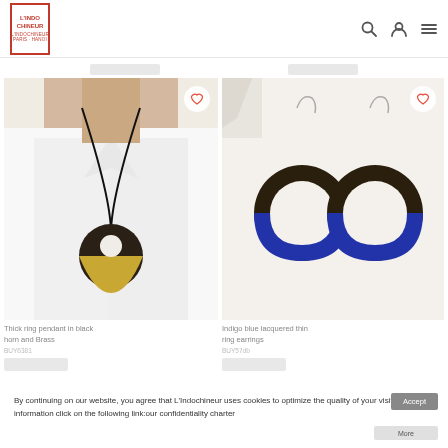[Figure (logo): L'Indochineur Paris Hanoi logo in red border box]
[Figure (photo): Woman wearing thick ring pendant necklace in black horn and brass on white shirt]
[Figure (photo): Indigo blue lacquered thin ring earrings in horn]
Thick ring pendant in black horn and Brass
BUY6381
Indigo blue lacquered thin ring earrings
BUY57db
By continuing on our website, you agree that L'Indochineur uses cookies to optimize the quality of your visit. For more information click on the following link:our confidentiality charter